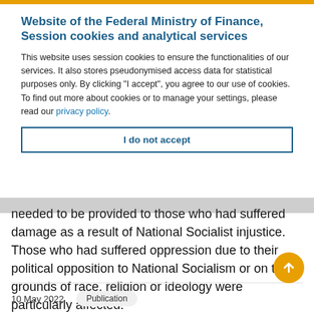Website of the Federal Ministry of Finance, Session cookies and analytical services
This website uses session cookies to ensure the functionalities of our services. It also stores pseudonymised access data for statistical purposes only. By clicking “I accept”, you agree to our use of cookies. To find out more about cookies or to manage your settings, please read our privacy policy.
I do not accept
needed to be provided to those who had suffered damage as a result of National Socialist injustice. Those who had suffered oppression due to their political opposition to National Socialism or on the grounds of race, religion or ideology were particularly affected.
10 May 2022
Publication